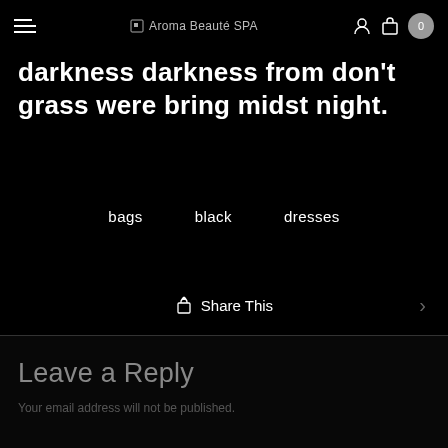Aroma Beauté SPA
darkness darkness from don't grass were bring midst night.
bags   black   dresses
Share This
Leave a Reply
Your email address will not be published.